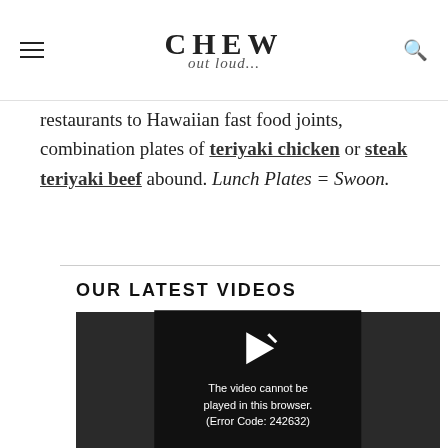CHEW out loud...
restaurants to Hawaiian fast food joints, combination plates of teriyaki chicken or steak teriyaki beef abound. Lunch Plates = Swoon.
OUR LATEST VIDEOS
[Figure (screenshot): Embedded video player showing an error message: 'The video cannot be played in this browser. (Error Code: 242632)']